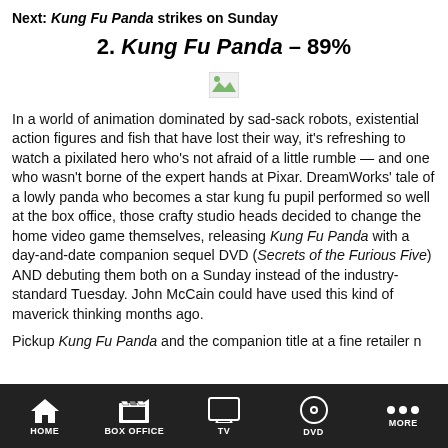Next: Kung Fu Panda strikes on Sunday
2. Kung Fu Panda – 89%
[Figure (other): Broken/missing image placeholder thumbnail]
In a world of animation dominated by sad-sack robots, existential action figures and fish that have lost their way, it's refreshing to watch a pixilated hero who's not afraid of a little rumble — and one who wasn't borne of the expert hands at Pixar. DreamWorks' tale of a lowly panda who becomes a star kung fu pupil performed so well at the box office, those crafty studio heads decided to change the home video game themselves, releasing Kung Fu Panda with a day-and-date companion sequel DVD (Secrets of the Furious Five) AND debuting them both on a Sunday instead of the industry-standard Tuesday. John McCain could have used this kind of maverick thinking months ago.
HOME  BOX OFFICE  TV  DVD  MORE